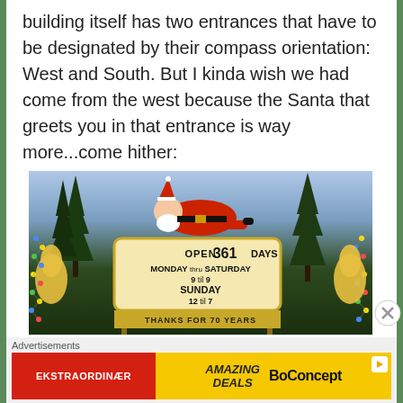building itself has two entrances that have to be designated by their compass orientation: West and South. But I kinda wish we had come from the west because the Santa that greets you in that entrance is way more...come hither:
[Figure (photo): Photo of a Santa Claus figure lying on top of a large illuminated sign reading 'OPEN 361 DAYS / MONDAY thru SATURDAY / 9 til 9 / SUNDAY / 12 til 7 / THANKS FOR 70 YEARS' with Christmas lights and decorated trees surrounding it, taken at dusk.]
Advertisements
[Figure (other): Advertisement banner: red section with 'EKSTRAORDINÆR', yellow section with 'AMAZING DEALS' and 'BoConcept' logo with play icon]